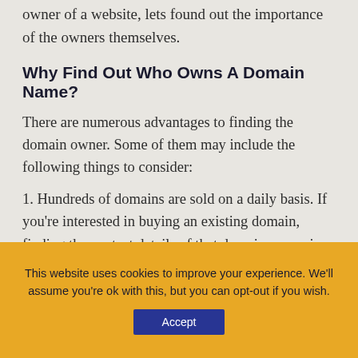owner of a website, lets found out the importance of the owners themselves.
Why Find Out Who Owns A Domain Name?
There are numerous advantages to finding the domain owner. Some of them may include the following things to consider:
1. Hundreds of domains are sold on a daily basis. If you're interested in buying an existing domain, finding the contact details of that domain owner is the first obvious step. Doing so will help you to get in touch to discuss the details and probability of a sale.
This website uses cookies to improve your experience. We'll assume you're ok with this, but you can opt-out if you wish.